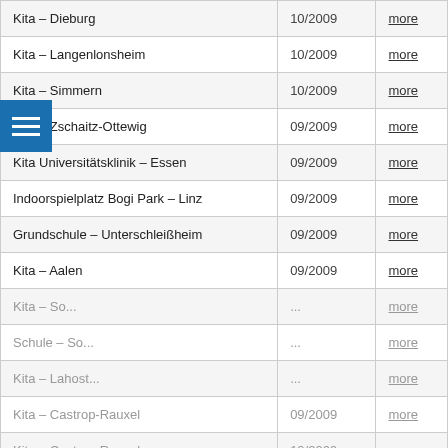| Name | Date | Link |
| --- | --- | --- |
| Kita – Dieburg | 10/2009 | more |
| Kita – Langenlonsheim | 10/2009 | more |
| Kita – Simmern | 10/2009 | more |
| Kita – Zschaitz-Ottewig | 09/2009 | more |
| Kita Universitätsklinik – Essen | 09/2009 | more |
| Indoorspielplatz Bogi Park – Linz | 09/2009 | more |
| Grundschule – Unterschleißheim | 09/2009 | more |
| Kita – Aalen | 09/2009 | more |
| Kita – So... | ... | more |
| Schule – So... | ... | more |
| Kita – Lahost... | ... | more |
| Kita – Castrop-Rauxel | 09/2009 | more |
| Kita – Castrop-Rauxel | 10/2009 | more |
| Kita – Herten | 09/2009 | more |
| Kita – Göttingen | 09/2009 | more |
| Kita – Leer | 09/2009 | more |
We use cookies in order to adapt the website as best as possible to your needs. By using our websites, you agree to the use of cookies. More information is available here Privacy Policy
Tracking
Privacy Preferences
I Agree